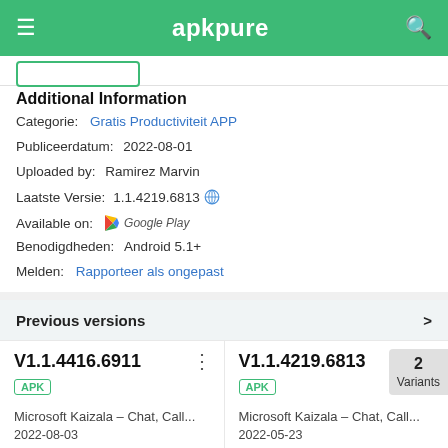apkpure
Additional Information
Categorie: Gratis Productiviteit APP
Publiceerdatum: 2022-08-01
Uploaded by: Ramirez Marvin
Laatste Versie: 1.1.4219.6813
Available on: Google Play
Benodigdheden: Android 5.1+
Melden: Rapporteer als ongepast
Previous versions
V1.1.4416.6911
APK
Microsoft Kaizala – Chat, Call...
2022-08-03
V1.1.4219.6813
APK
Microsoft Kaizala – Chat, Call...
2022-05-23
2 Variants